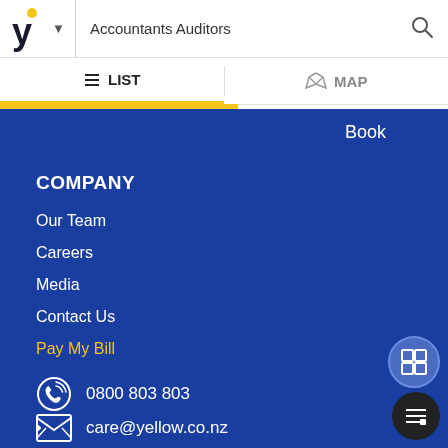Yellow logo | Accountants Auditors | Search
LIST | MAP
Book
COMPANY
Our Team
Careers
Media
Contact Us
Pay My Bill
0800 803 803
care@yellow.co.nz